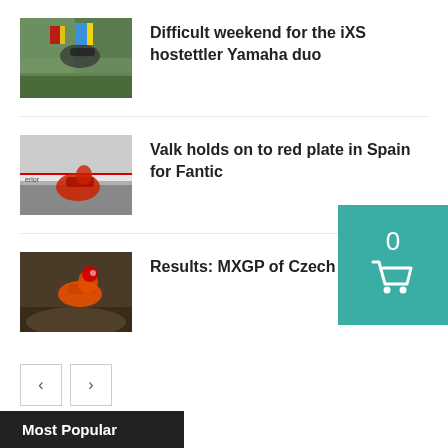[Figure (photo): Motocross riders in air with colorful flags in background]
Difficult weekend for the iXS hostettler Yamaha duo
[Figure (photo): Motocross rider on red bike with crowd and barrier in background]
Valk holds on to red plate in Spain for Fantic
[Figure (photo): Motocross rider on orange/red KTM bike mid-air on dirt track]
Results: MXGP of Czech Republic
Most Popular